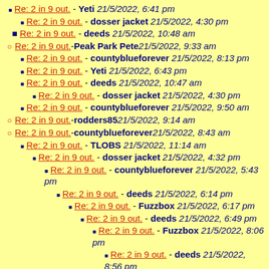Re: 2 in 9 out. - Yeti 21/5/2022, 6:41 pm
Re: 2 in 9 out. - dosser jacket 21/5/2022, 4:30 pm
Re: 2 in 9 out. - deeds 21/5/2022, 10:48 am
Re: 2 in 9 out. - Peak Park Pete 21/5/2022, 9:33 am
Re: 2 in 9 out. - countyblueforever 21/5/2022, 8:13 pm
Re: 2 in 9 out. - Yeti 21/5/2022, 6:43 pm
Re: 2 in 9 out. - deeds 21/5/2022, 10:47 am
Re: 2 in 9 out. - dosser jacket 21/5/2022, 4:30 pm
Re: 2 in 9 out. - countyblueforever 21/5/2022, 9:50 am
Re: 2 in 9 out. - rodders85 21/5/2022, 9:14 am
Re: 2 in 9 out. - countyblueforever 21/5/2022, 8:43 am
Re: 2 in 9 out. - TLOBS 21/5/2022, 11:14 am
Re: 2 in 9 out. - dosser jacket 21/5/2022, 4:32 pm
Re: 2 in 9 out. - countyblueforever 21/5/2022, 5:43 pm
Re: 2 in 9 out. - deeds 21/5/2022, 6:14 pm
Re: 2 in 9 out. - Fuzzbox 21/5/2022, 6:17 pm
Re: 2 in 9 out. - deeds 21/5/2022, 6:49 pm
Re: 2 in 9 out. - Fuzzbox 21/5/2022, 8:06 pm
Re: 2 in 9 out. - deeds 21/5/2022, 8:56 pm
Re: 2 in 9 out. - TSBW 21/5/2022, 9:50 pm
Re: 2 in 9 out. - deeds 21/5/2022, 10:37 pm
Re: 2 in 9 out. - TSBW 21/5/2022, ...